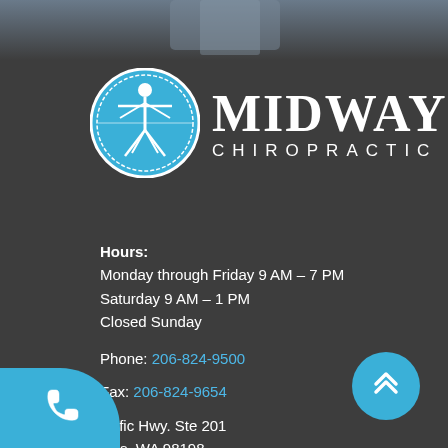[Figure (photo): Grayscale photo at top of page, partially visible, showing a blurred background scene]
[Figure (logo): Midway Chiropractic logo — blue circle with Vitruvian-man figure on left, 'MIDWAY CHIROPRACTIC' text on right in white]
Hours:
Monday through Friday 9 AM – 7 PM
Saturday 9 AM – 1 PM
Closed Sunday
Phone: 206-824-9500
Fax: 206-824-9654
acific Hwy. Ste 201
ines, WA 98198